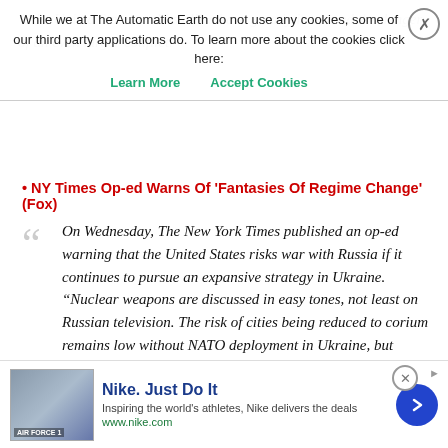"..the United States and its allies have greatly increased the danger of an even larger conflict."
While we at The Automatic Earth do not use any cookies, some of our third party applications do. To learn more about the cookies click here: Learn More  Accept Cookies
NY Times Op-ed Warns Of 'Fantasies Of Regime Change' (Fox)
On Wednesday, The New York Times published an op-ed warning that the United States risks war with Russia if it continues to pursue an expansive strategy in Ukraine. "Nuclear weapons are discussed in easy tones, not least on Russian television. The risk of cities being reduced to corium remains low without NATO deployment in Ukraine, but accident and miscalculation cannot be discounted," wrote Tom Stevenson. The op-ed, titled "America and Its Allies Want to Bleed Russia. They Really Shouldn't," cautions that while America's initial actions to provide support to Ukraine, American leaders' willingness to speak in increasingly bold terms about regime change in Russia and "draining" the country poses a risk to American security
[Figure (infographic): Nike advertisement banner at bottom of page showing Air Force 1 shoe image, Nike logo, tagline 'Just Do It', subtitle 'Inspiring the world's athletes, Nike delivers the deals', and URL www.nike.com with a blue circular arrow button]